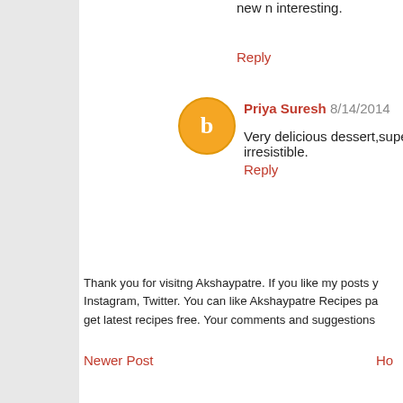new n interesting.
Reply
Priya Suresh 8/14/2014
Very delicious dessert,super irresistible.
Reply
Thank you for visitng Akshaypatre. If you like my posts you can follow me on Instagram, Twitter. You can like Akshaypatre Recipes page on facebook to get latest recipes free. Your comments and suggestions are always welcome.
Newer Post
Ho